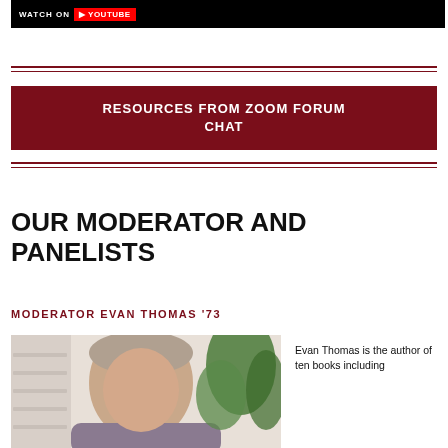[Figure (screenshot): Dark banner with Watch on YouTube button/logo in white text on black background]
RESOURCES FROM ZOOM FORUM CHAT
OUR MODERATOR AND PANELISTS
MODERATOR EVAN THOMAS '73
[Figure (photo): Photo of Evan Thomas, an older man with gray hair, seated near a plant with green leaves against a light wall]
Evan Thomas is the author of ten books including